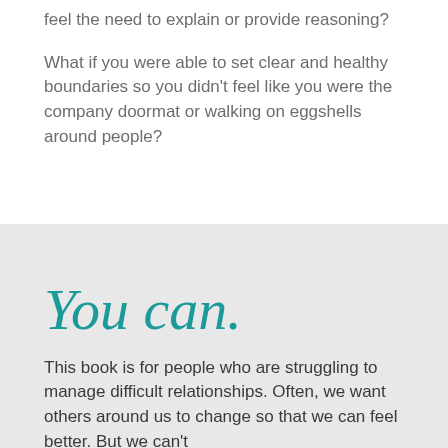feel the need to explain or provide reasoning?
What if you were able to set clear and healthy boundaries so you didn't feel like you were the company doormat or walking on eggshells around people?
You can.
This book is for people who are struggling to manage difficult relationships. Often, we want others around us to change so that we can feel better. But we can't